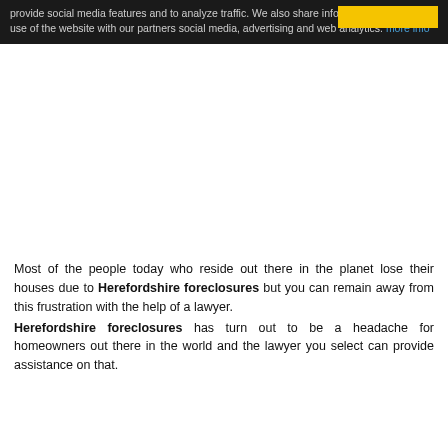provide social media features and to analyze traffic. We also share information about your use of the website with our partners social media, advertising and web analytics. more info
Most of the people today who reside out there in the planet lose their houses due to Herefordshire foreclosures but you can remain away from this frustration with the help of a lawyer. Herefordshire foreclosures has turn out to be a headache for homeowners out there in the world and the lawyer you select can provide assistance on that.